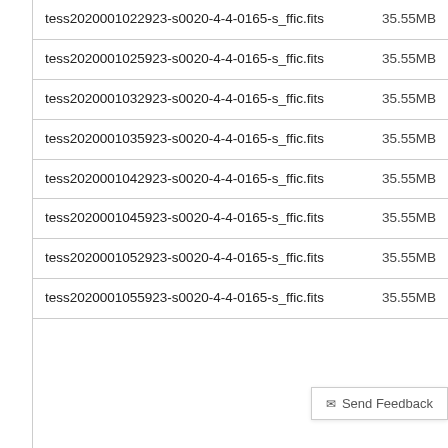| Filename | Size |
| --- | --- |
| tess2020001022923-s0020-4-4-0165-s_ffic.fits | 35.55MB |
| tess2020001025923-s0020-4-4-0165-s_ffic.fits | 35.55MB |
| tess2020001032923-s0020-4-4-0165-s_ffic.fits | 35.55MB |
| tess2020001035923-s0020-4-4-0165-s_ffic.fits | 35.55MB |
| tess2020001042923-s0020-4-4-0165-s_ffic.fits | 35.55MB |
| tess2020001045923-s0020-4-4-0165-s_ffic.fits | 35.55MB |
| tess2020001052923-s0020-4-4-0165-s_ffic.fits | 35.55MB |
| tess2020001055923-s0020-4-4-0165-s_ffic.fits | 35.55MB |